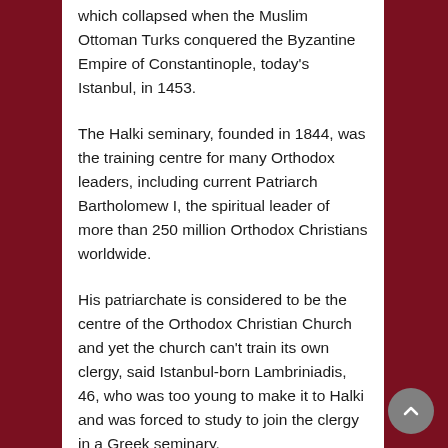which collapsed when the Muslim Ottoman Turks conquered the Byzantine Empire of Constantinople, today's Istanbul, in 1453.
The Halki seminary, founded in 1844, was the training centre for many Orthodox leaders, including current Patriarch Bartholomew I, the spiritual leader of more than 250 million Orthodox Christians worldwide.
His patriarchate is considered to be the centre of the Orthodox Christian Church and yet the church can't train its own clergy, said Istanbul-born Lambriniadis, 46, who was too young to make it to Halki and was forced to study to join the clergy in a Greek seminary.